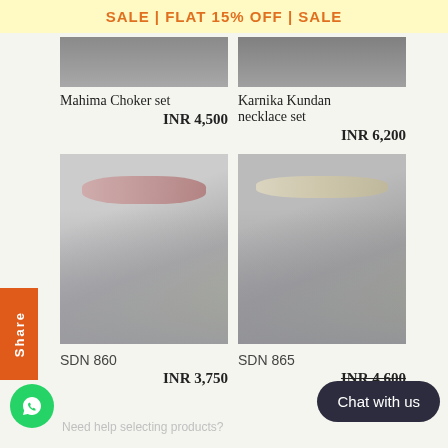SALE | FLAT 15% OFF | SALE
Mahima Choker set
INR 4,500
Karnika Kundan necklace set
INR 6,200
[Figure (photo): Jewelry choker set with earrings on mannequin bust (SDN 860), left product]
[Figure (photo): Jewelry necklace set with earrings on mannequin bust (SDN 865), right product]
SDN 860
INR 3,750
SDN 865
INR 4,600
Need help selecting products?